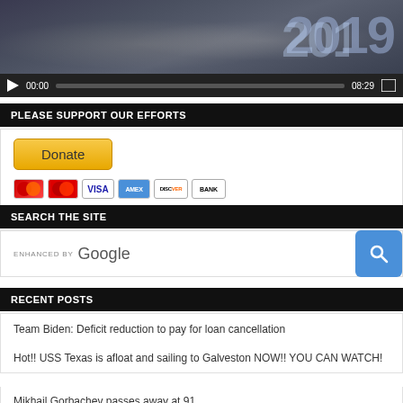[Figure (screenshot): Video player showing a thumbnail with large year text '2019' overlaid on dark background with people visible, and video controls showing play button, timestamp 00:00, progress bar, duration 08:29, and fullscreen button]
PLEASE SUPPORT OUR EFFORTS
[Figure (infographic): PayPal Donate button in yellow/gold color followed by payment card icons: MasterCard (red circular), MasterCard (red), VISA, American Express, Discover, BANK]
SEARCH THE SITE
[Figure (screenshot): Google enhanced search bar with 'ENHANCED BY Google' text on left and blue search button with magnifying glass icon on right]
RECENT POSTS
Team Biden: Deficit reduction to pay for loan cancellation
Hot!! USS Texas is afloat and sailing to Galveston NOW!! YOU CAN WATCH!
Mikhail Gorbachev passes away at 91